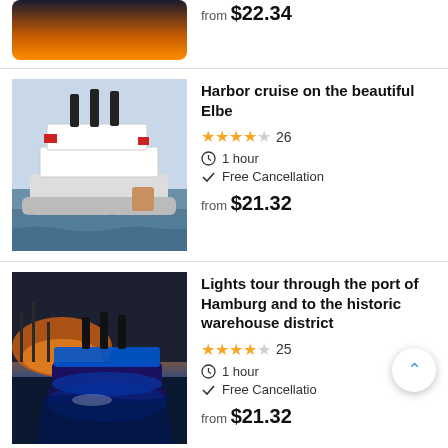[Figure (photo): Partial top listing: night city lights reflected on water]
from $22.34
[Figure (photo): Riverboat/paddle steamer on the Elbe river]
Harbor cruise on the beautiful Elbe
★★★★☆ 26
1 hour
Free Cancellation
from $21.32
[Figure (photo): Harbor at night with illuminated blue boat]
Lights tour through the port of Hamburg and to the historic warehouse district
★★★★☆ 25
1 hour
Free Cancellation
from $21.32